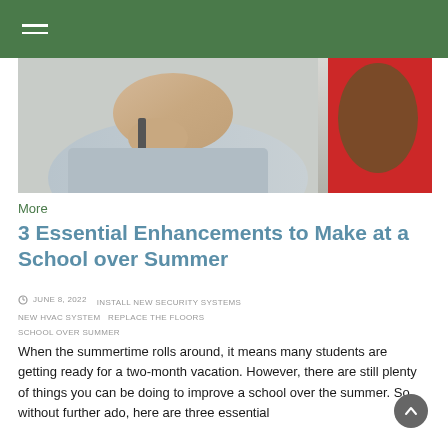Navigation bar with hamburger menu
[Figure (photo): Close-up photo of a student (in a grey shirt) leaning forward at a desk, with a red object visible on the right side.]
More
3 Essential Enhancements to Make at a School over Summer
JUNE 8, 2022   INSTALL NEW SECURITY SYSTEMS   NEW HVAC SYSTEM   REPLACE THE FLOORS   SCHOOL OVER SUMMER
When the summertime rolls around, it means many students are getting ready for a two-month vacation. However, there are still plenty of things you can be doing to improve a school over the summer. So without further ado, here are three essential enhancements to make at a school over the summer.